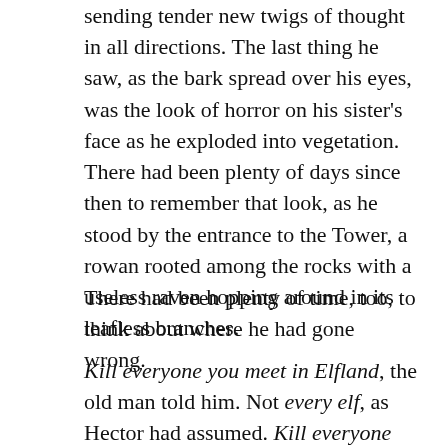sending tender new twigs of thought in all directions. The last thing he saw, as the bark spread over his eyes, was the look of horror on his sister's face as he exploded into vegetation. There had been plenty of days since then to remember that look, as he stood by the entrance to the Tower, a rowan rooted among the rocks with a useless raven hopping around in its leafless branches.
There had been plenty of time, too, to think about where he had gone wrong.
Kill everyone you meet in Elfland, the old man told him. Not every elf, as Hector had assumed. Kill everyone you meet in Elfland,